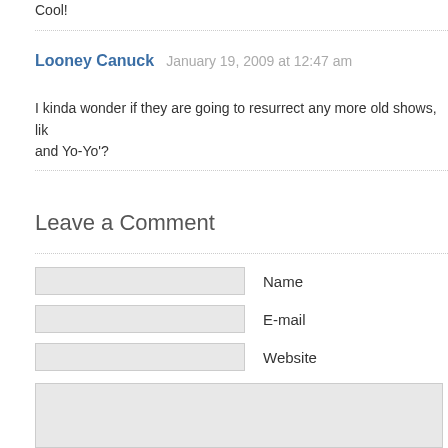Cool!
Looney Canuck   January 19, 2009 at 12:47 am
I kinda wonder if they are going to resurrect any more old shows, like and Yo-Yo'?
Leave a Comment
Name
E-mail
Website